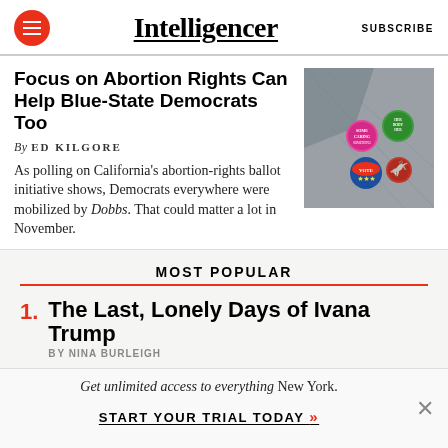Intelligencer — SUBSCRIBE
Focus on Abortion Rights Can Help Blue-State Democrats Too
By ED KILGORE
As polling on California's abortion-rights ballot initiative shows, Democrats everywhere were mobilized by Dobbs. That could matter a lot in November.
[Figure (photo): Close-up photo of colorful political buttons/pins on a denim jacket including a Vote button and other campaign buttons in pink, green, and blue]
MOST POPULAR
1. The Last, Lonely Days of Ivana Trump
By NINA BURLEIGH
Get unlimited access to everything New York. START YOUR TRIAL TODAY